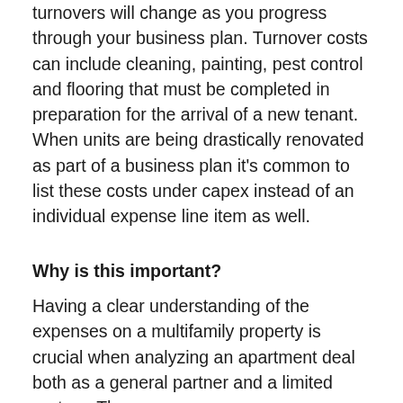turnovers will change as you progress through your business plan. Turnover costs can include cleaning, painting, pest control and flooring that must be completed in preparation for the arrival of a new tenant. When units are being drastically renovated as part of a business plan it's common to list these costs under capex instead of an individual expense line item as well.
Why is this important?
Having a clear understanding of the expenses on a multifamily property is crucial when analyzing an apartment deal both as a general partner and a limited partner. The